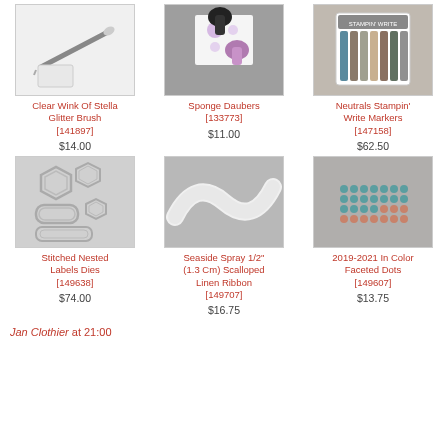[Figure (photo): Clear Wink Of Stella Glitter Brush product photo]
Clear Wink Of Stella Glitter Brush [141897]
$14.00
[Figure (photo): Sponge Daubers product photo]
Sponge Daubers [133773]
$11.00
[Figure (photo): Neutrals Stampin' Write Markers product photo]
Neutrals Stampin' Write Markers [147158]
$62.50
[Figure (photo): Stitched Nested Labels Dies product photo]
Stitched Nested Labels Dies [149638]
$74.00
[Figure (photo): Seaside Spray 1/2" (1.3 Cm) Scalloped Linen Ribbon product photo]
Seaside Spray 1/2" (1.3 Cm) Scalloped Linen Ribbon [149707]
$16.75
[Figure (photo): 2019-2021 In Color Faceted Dots product photo]
2019-2021 In Color Faceted Dots [149607]
$13.75
Jan Clothier at 21:00